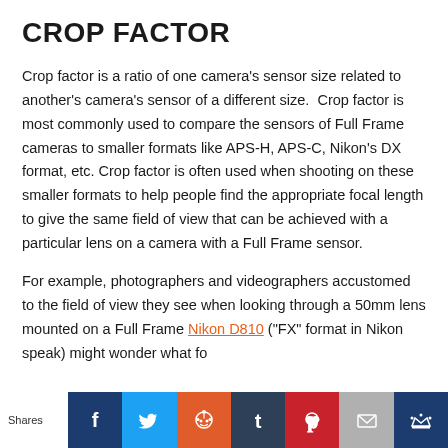CROP FACTOR
Crop factor is a ratio of one camera's sensor size related to another's camera's sensor of a different size.  Crop factor is most commonly used to compare the sensors of Full Frame cameras to smaller formats like APS-H, APS-C, Nikon's DX format, etc. Crop factor is often used when shooting on these smaller formats to help people find the appropriate focal length to give the same field of view that can be achieved with a particular lens on a camera with a Full Frame sensor.
For example, photographers and videographers accustomed to the field of view they see when looking through a 50mm lens mounted on a Full Frame Nikon D810 ("FX" format in Nikon speak) might wonder what focal lens they'll give the ...